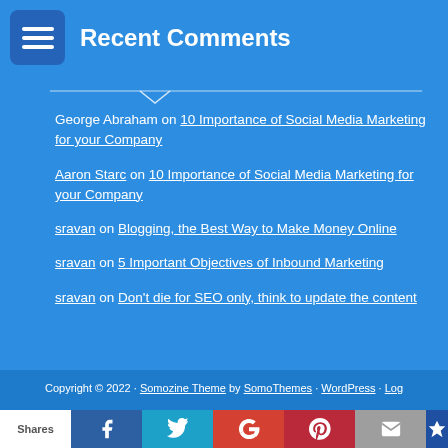Recent Comments
George Abraham on 10 Importance of Social Media Marketing for your Company
Aaron Starc on 10 Importance of Social Media Marketing for your Company
sravan on Blogging, the Best Way to Make Money Online
sravan on 5 Important Objectives of Inbound Marketing
sravan on Don't die for SEO only, think to update the content
Copyright © 2022 · Somozine Theme by SomoThemes · WordPress · Log